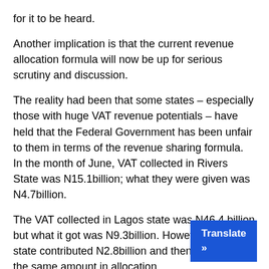for it to be heard.
Another implication is that the current revenue allocation formula will now be up for serious scrutiny and discussion.
The reality had been that some states – especially those with huge VAT revenue potentials – have held that the Federal Government has been unfair to them in terms of the revenue sharing formula.  In the month of June, VAT collected in Rivers State was N15.1billion; what they were given was N4.7billion.
The VAT collected in Lagos state was N46.4 billion but what it got was N9.3billion. However, Kano state contributed N2.8billion and then was given the same amount in allocation.
This is why the governor of Rivers state